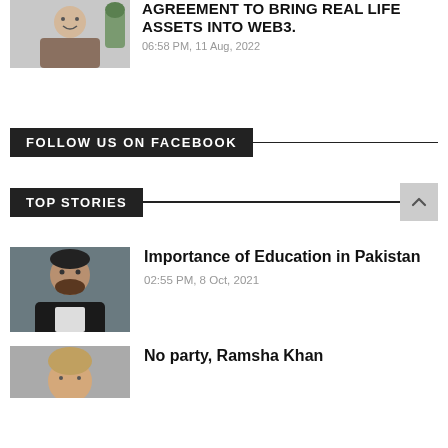[Figure (photo): Headshot of a young man smiling, casual setting]
AGREEMENT TO BRING REAL LIFE ASSETS INTO WEB3.
06:58 PM, 11 Aug, 2022
FOLLOW US ON FACEBOOK
TOP STORIES
[Figure (photo): Portrait of a man in a black jacket outdoors]
Importance of Education in Pakistan
02:55 PM, 8 Oct, 2021
[Figure (photo): Partial photo of a woman, bottom of page]
No party, Ramsha Khan